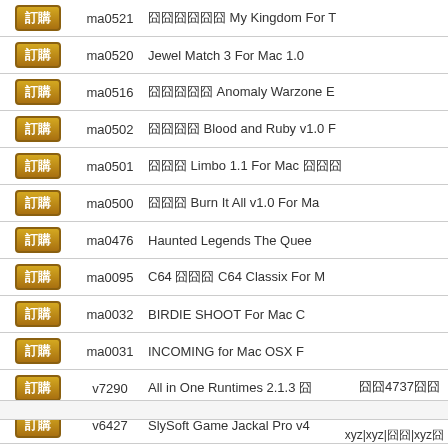|  | ID | Title |
| --- | --- | --- |
| 訂購 | ma0521 | 囧囧囧囧囧囧 My Kingdom For T |
| 訂購 | ma0520 | Jewel Match 3 For Mac 1.0 |
| 訂購 | ma0516 | 囧囧囧囧囧 Anomaly Warzone E |
| 訂購 | ma0502 | 囧囧囧囧 Blood and Ruby v1.0 F |
| 訂購 | ma0501 | 囧囧囧 Limbo 1.1 For Mac 囧囧囧 |
| 訂購 | ma0500 | 囧囧囧 Burn It All v1.0 For Ma |
| 訂購 | ma0476 | Haunted Legends The Quee |
| 訂購 | ma0095 | C64 囧囧囧 C64 Classix For M |
| 訂購 | ma0032 | BIRDIE SHOOT For Mac C |
| 訂購 | ma0031 | INCOMING for Mac OSX F |
| 訂購 | v7290 | All in One Runtimes 2.1.3 囧 |
| 訂購 | v6427 | SlySoft Game Jackal Pro v4 |
| 訂購 | v2296 | 囧囧GameCopy9.0 囧囧囧囧 囧囧囧 |
囧囧4737囧囧
xyz|xyz|囧囧|xyz囧